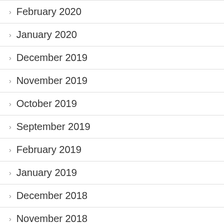February 2020
January 2020
December 2019
November 2019
October 2019
September 2019
February 2019
January 2019
December 2018
November 2018
October 2018